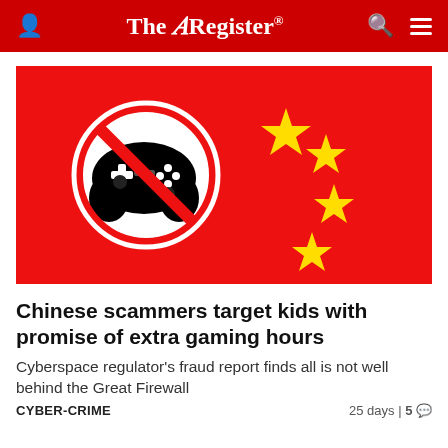The Register
[Figure (illustration): Red background resembling a Chinese flag with a 'no gaming controller' symbol (controller with a prohibition circle and slash) on the left, and four yellow stars arranged diagonally on the right, styled to evoke the Chinese national flag.]
Chinese scammers target kids with promise of extra gaming hours
Cyberspace regulator's fraud report finds all is not well behind the Great Firewall
CYBER-CRIME   25 days | 5 💬